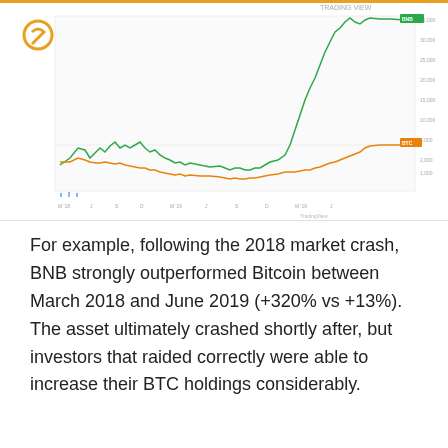[Figure (continuous-plot): Line chart showing BNB (green) vs BTC (orange) price performance from 2018 to 2019. BNB dramatically outperforms BTC, rising steeply from mid-2019 onward. BTC remains relatively flat throughout. The green BNB line surges to the top right of the chart while the orange BTC line stays near the bottom.]
For example, following the 2018 market crash, BNB strongly outperformed Bitcoin between March 2018 and June 2019 (+320% vs +13%). The asset ultimately crashed shortly after, but investors that raided correctly were able to increase their BTC holdings considerably.